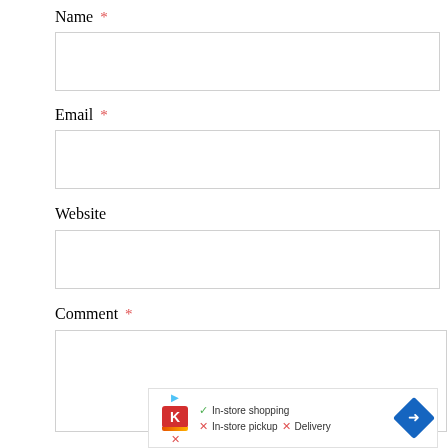Name *
[Figure (other): Empty text input field for Name]
Email *
[Figure (other): Empty text input field for Email]
Website
[Figure (other): Empty text input field for Website]
Comment *
[Figure (other): Empty textarea for Comment]
[Figure (other): Ad banner: Kroger store info with In-store shopping checkmark, In-store pickup X, Delivery X, and navigation icon]